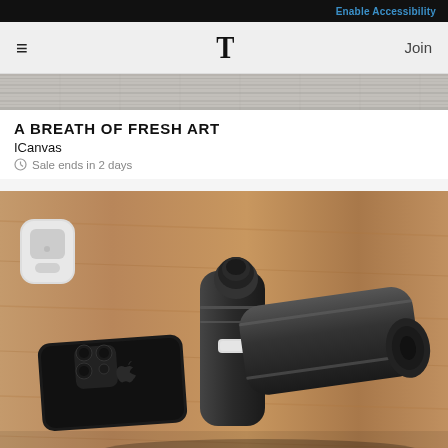Enable Accessibility
≡  T  Join
[Figure (photo): Top portion of a hero banner image showing a textured surface, partially visible at top of page]
A BREATH OF FRESH ART
ICanvas
Sale ends in 2 days
[Figure (photo): Product photo of a black massage gun device lying on a wooden surface next to an iPhone and AirPods case]